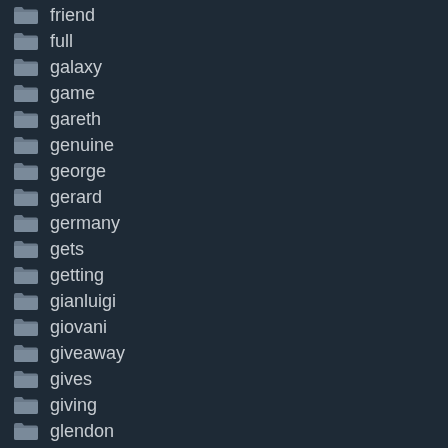friend
full
galaxy
game
gareth
genuine
george
gerard
germany
gets
getting
gianluigi
giovani
giveaway
gives
giving
glendon
goal